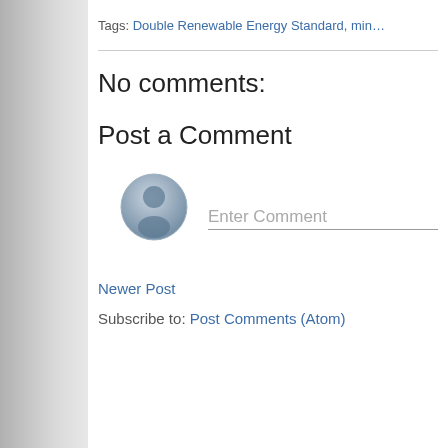Tags: Double Renewable Energy Standard, min…
No comments:
Post a Comment
[Figure (illustration): Default user avatar icon — a grey circle with a silhouette of a person]
Enter Comment
Newer Post
Subscribe to: Post Comments (Atom)